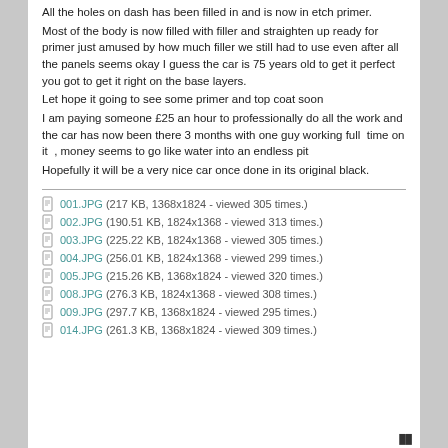All the holes on dash has been filled in and is now in etch primer.
Most of the body is now filled with filler and straighten up ready for primer just amused by how much filler we still had to use even after all the panels seems okay I guess the car is 75 years old to get it perfect you got to get it right on the base layers.
Let hope it going to see some primer and top coat soon
I am paying someone £25 an hour to professionally do all the work and the car has now been there 3 months with one guy working full  time on it  , money seems to go like water into an endless pit
Hopefully it will be a very nice car once done in its original black.
001.JPG (217 KB, 1368x1824 - viewed 305 times.)
002.JPG (190.51 KB, 1824x1368 - viewed 313 times.)
003.JPG (225.22 KB, 1824x1368 - viewed 305 times.)
004.JPG (256.01 KB, 1824x1368 - viewed 299 times.)
005.JPG (215.26 KB, 1368x1824 - viewed 320 times.)
008.JPG (276.3 KB, 1824x1368 - viewed 308 times.)
009.JPG (297.7 KB, 1368x1824 - viewed 295 times.)
014.JPG (261.3 KB, 1368x1824 - viewed 309 times.)